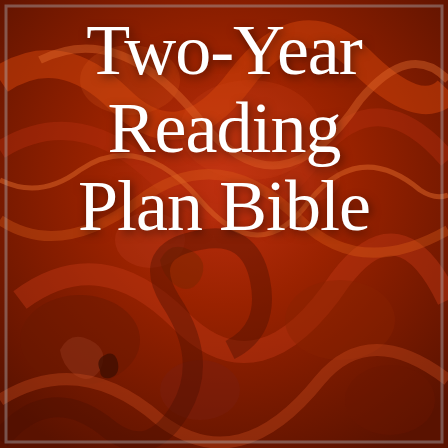[Figure (illustration): Book cover with a marbled red and orange swirling abstract background texture, resembling decorative marbled paper with deep reds, oranges, and browns.]
Two-Year Reading Plan Bible